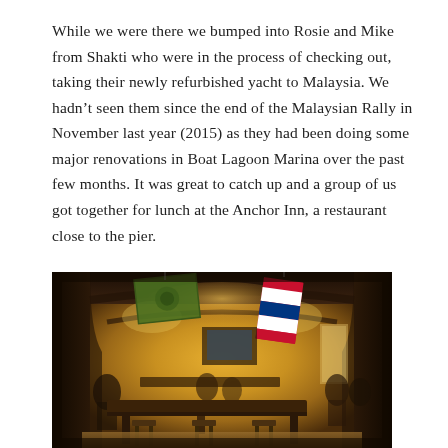While we were there we bumped into Rosie and Mike from Shakti who were in the process of checking out, taking their newly refurbished yacht to Malaysia. We hadn't seen them since the end of the Malaysian Rally in November last year (2015) as they had been doing some major renovations in Boat Lagoon Marina over the past few months. It was great to catch up and a group of us got together for lunch at the Anchor Inn, a restaurant close to the pier.
[Figure (photo): Interior of the Anchor Inn restaurant showing a warm, dimly lit dining room with arched ceilings, wooden furniture, flags hanging from the ceiling (a green flag and the Thai flag), and patrons seated at tables.]